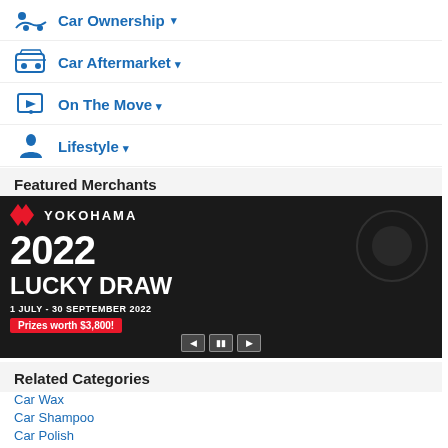Car Ownership
Car Aftermarket
On The Move
Lifestyle
Featured Merchants
[Figure (photo): Yokohama 2022 Lucky Draw banner advertisement. 1 July - 30 September 2022. Prizes worth $3,800!]
Related Categories
Car Wax
Car Shampoo
Car Polish
Leather Care
Consumer Reviews of Sonax Car Air-Con Clean...
4.5 rating, 8 Consumer Reviews
Sort By Relevance
Ahkean
Neutral Newbie
2 reviews
0 points
0 forum posts
Joined on 30 May 2022
Review title (red)
2 stars rating
Feature box: Fea...
Des...
I instal... Merced...
Review...
This is s... skeptica... did it or...